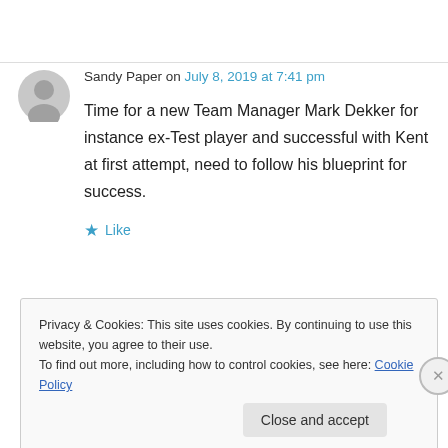Sandy Paper on July 8, 2019 at 7:41 pm
Time for a new Team Manager Mark Dekker for instance ex-Test player and successful with Kent at first attempt, need to follow his blueprint for success.
★ Like
Privacy & Cookies: This site uses cookies. By continuing to use this website, you agree to their use. To find out more, including how to control cookies, see here: Cookie Policy
Close and accept